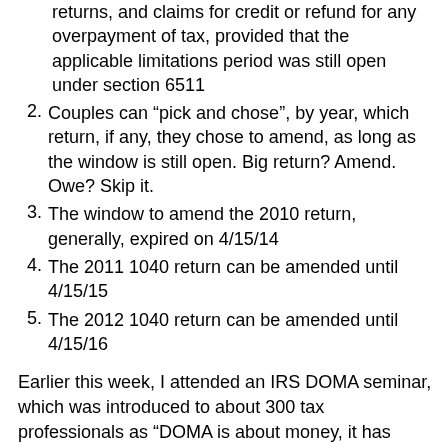returns, and claims for credit or refund for any overpayment of tax, provided that the applicable limitations period was still open under section 6511
2. Couples can “pick and chose”, by year, which return, if any, they chose to amend, as long as the window is still open. Big return? Amend. Owe? Skip it.
3. The window to amend the 2010 return, generally, expired on 4/15/14
4. The 2011 1040 return can be amended until 4/15/15
5. The 2012 1040 return can be amended until 4/15/16
Earlier this week, I attended an IRS DOMA seminar, which was introduced to about 300 tax professionals as “DOMA is about money, it has nothing to do with sex”.
SSM, is partially about money. The Windsor (DOMA) case was about inheritance rights between spouses.